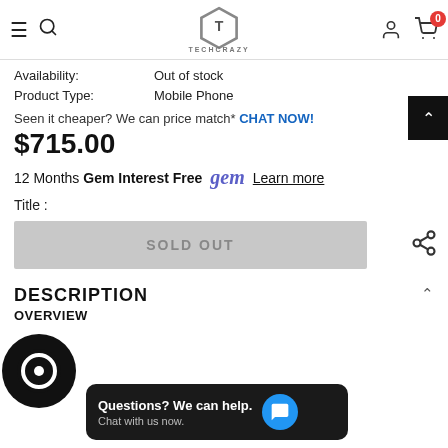TechCrazy navigation bar with hamburger menu, search, logo, user icon, cart (0)
Availability: Out of stock
Product Type: Mobile Phone
Seen it cheaper? We can price match* CHAT NOW!
$715.00
12 Months Gem Interest Free  gem  Learn more
Title :
SOLD OUT
DESCRIPTION
OVERVIEW
Questions? We can help. Chat with us now.